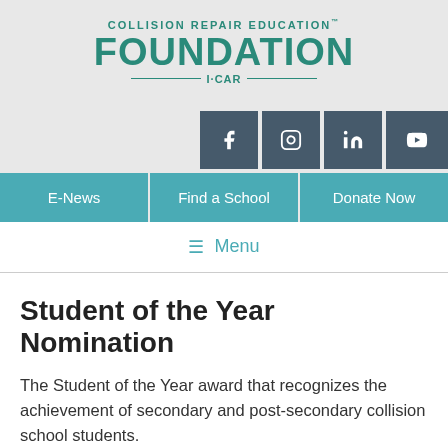[Figure (logo): Collision Repair Education Foundation I-CAR logo in teal/green color]
[Figure (infographic): Social media buttons: Facebook, Instagram, LinkedIn, YouTube in dark slate color]
[Figure (infographic): Navigation buttons: E-News, Find a School, Donate Now in teal color]
[Figure (infographic): Menu bar with hamburger icon and Menu text in teal]
Student of the Year Nomination
The Student of the Year award that recognizes the achievement of secondary and post-secondary collision school students.